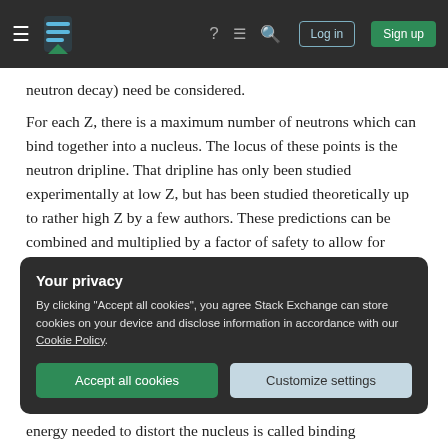Stack Exchange navigation bar with hamburger menu, logo, help, chat, search icons, Log in and Sign up buttons
neutron decay) need be considered.
For each Z, there is a maximum number of neutrons which can bind together into a nucleus. The locus of these points is the neutron dripline. That dripline has only been studied experimentally at low Z, but has been studied theoretically up to rather high Z by a few authors. These predictions can be combined and multiplied by a factor of safety to allow for errors and by a second factor of safety to account for the possibility of unknown stabilizing effects.
Your privacy
By clicking "Accept all cookies", you agree Stack Exchange can store cookies on your device and disclose information in accordance with our Cookie Policy.
[Accept all cookies] [Customize settings]
energy needed to distort the nucleus is called binding